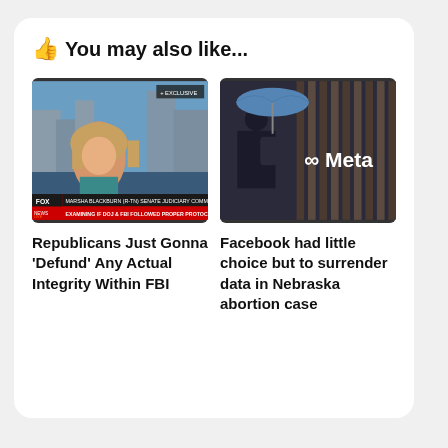👍 You may also like...
[Figure (screenshot): Fox News screenshot showing female anchor with lower-third text: MARSHA BLACKBURN (R-TN) SENATE JUDICIARY COMMITTEE and EXAMINING IF DOJ & FBI FOLLOWED PROPER PROTOCOL, with EXCLUSIVE tag in top right]
Republicans Just Gonna 'Defund' Any Actual Integrity Within FBI
[Figure (photo): Person with blue umbrella walking past Meta logo signage on striped wall]
Facebook had little choice but to surrender data in Nebraska abortion case